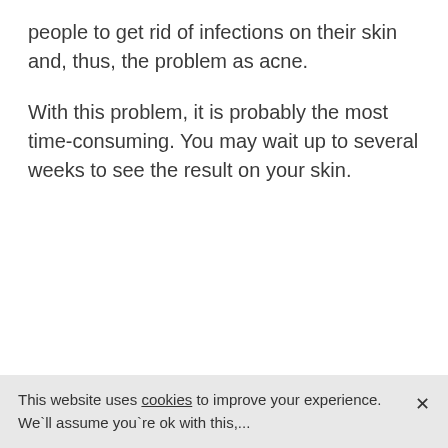people to get rid of infections on their skin and, thus, the problem as acne.
With this problem, it is probably the most time-consuming. You may wait up to several weeks to see the result on your skin.
This website uses cookies to improve your experience. We`ll assume you`re ok with this,...